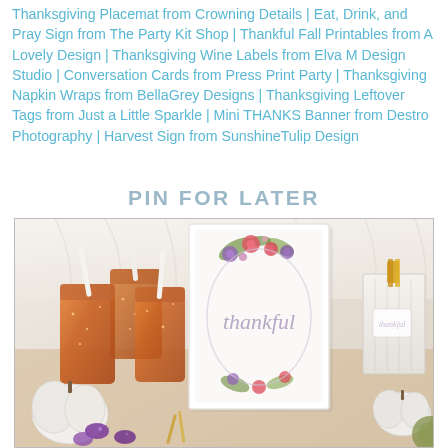Thanksgiving Placemat from Crowning Details | Eat, Drink, and Pray Sign from The Party Kit Shop | Thankful Fall Printables from A Lovely Design | Thanksgiving Wine Labels from Elva M Design Studio | Conversation Cards from Press Print Party | Thanksgiving Napkin Wraps from BellaGrey Designs | Thanksgiving Leftover Tags from Just a Little Sparkle | Mini THANKS Banner from Destro Photography | Harvest Sign from SunshineTulip Design
PIN FOR LATER
[Figure (photo): Thanksgiving party table decor photo showing amber/copper glitter mason jars with white straws on the left, a framed 'thankful' floral watercolor print in the center, and a white gift bag with gold glitter clothespin on the right. White pumpkins and purple candy/chocolates visible in foreground.]